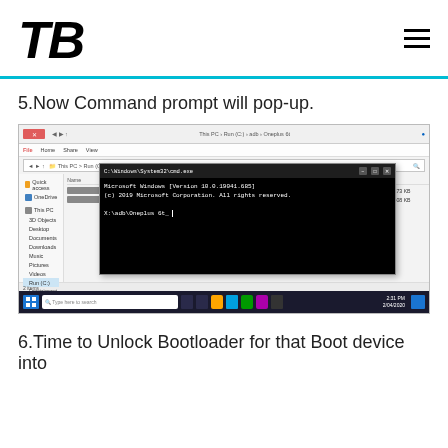TB
5.Now Command prompt will pop-up.
[Figure (screenshot): Windows File Explorer with a Command Prompt (cmd.exe) window open on top, showing 'C:\adb\Oneplus 6t' path and the command prompt displaying Microsoft Windows version info with 'X:\adb\Oneplus 6t_' prompt. Windows taskbar visible at the bottom.]
6.Time to Unlock Bootloader for that Boot device into